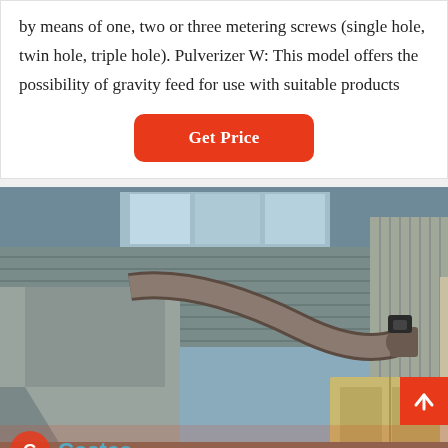by means of one, two or three metering screws (single hole, twin hole, triple hole). Pulverizer W: This model offers the possibility of gravity feed for use with suitable products
[Figure (other): Button labeled Get Price with red/orange background and rounded corners]
[Figure (photo): Industrial pulverizer equipment inside a factory with large ductwork, corrugated metal walls and ceiling with skylights, and industrial machinery including a large cabinet-style unit and duct pipes.]